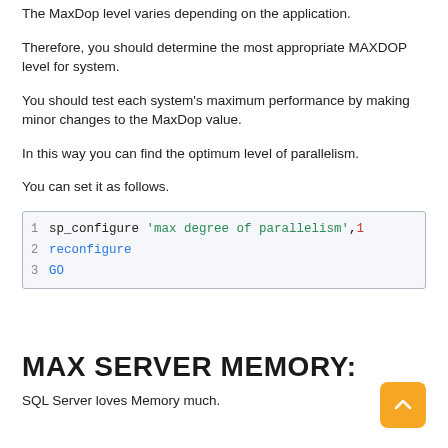The MaxDop level varies depending on the application.
Therefore, you should determine the most appropriate MAXDOP level for system.
You should test each system's maximum performance by making minor changes to the MaxDop value.
In this way you can find the optimum level of parallelism.
You can set it as follows.
[Figure (screenshot): Code block showing SQL Server T-SQL commands: 1 sp_configure 'max degree of parallelism',1  2 reconfigure  3 GO]
MAX SERVER MEMORY:
SQL Server loves Memory much.